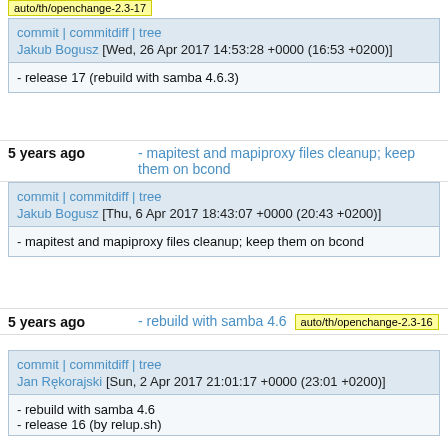auto/th/openchange-2.3-17
commit | commitdiff | tree
Jakub Bogusz [Wed, 26 Apr 2017 14:53:28 +0000 (16:53 +0200)]
- release 17 (rebuild with samba 4.6.3)
5 years ago   - mapitest and mapiproxy files cleanup; keep them on bcond
commit | commitdiff | tree
Jakub Bogusz [Thu, 6 Apr 2017 18:43:07 +0000 (20:43 +0200)]
- mapitest and mapiproxy files cleanup; keep them on bcond
5 years ago   - rebuild with samba 4.6   auto/th/openchange-2.3-16
commit | commitdiff | tree
Jan Rękorajski [Sun, 2 Apr 2017 21:01:17 +0000 (23:01 +0200)]
- rebuild with samba 4.6
- release 16 (by relup.sh)